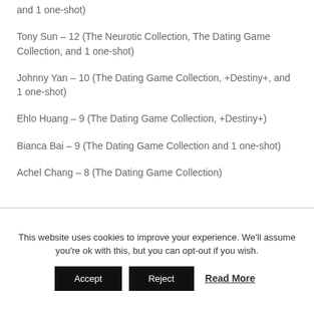and 1 one-shot)
Tony Sun – 12 (The Neurotic Collection, The Dating Game Collection, and 1 one-shot)
Johnny Yan – 10 (The Dating Game Collection, +Destiny+, and 1 one-shot)
Ehlo Huang – 9 (The Dating Game Collection, +Destiny+)
Bianca Bai – 9 (The Dating Game Collection and 1 one-shot)
Achel Chang – 8 (The Dating Game Collection)
This website uses cookies to improve your experience. We'll assume you're ok with this, but you can opt-out if you wish.